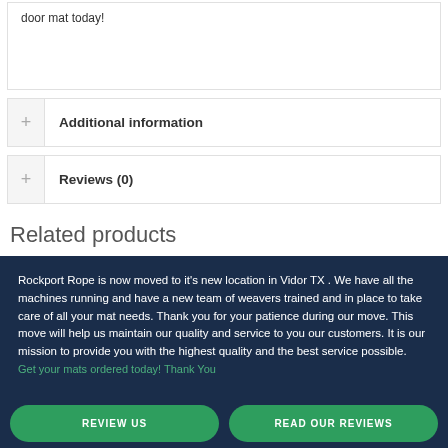door mat today!
Additional information
Reviews (0)
Related products
Rockport Rope is now moved to it's new location in Vidor TX . We have all the machines running and have a new team of weavers trained and in place to take care of all your mat needs. Thank you for your patience during our move. This move will help us maintain our quality and service to you our customers. It is our mission to provide you with the highest quality and the best service possible. Get your mats ordered today! Thank You
REVIEW US
READ OUR REVIEWS